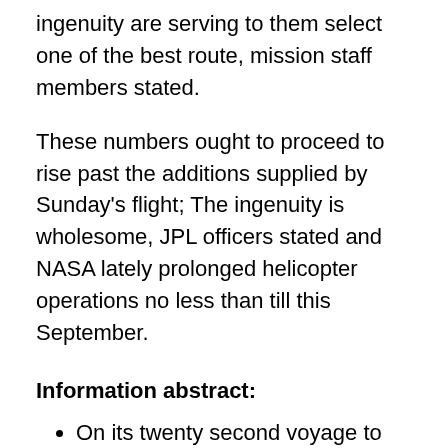ingenuity are serving to them select one of the best route, mission staff members stated.
These numbers ought to proceed to rise past the additions supplied by Sunday's flight; The ingenuity is wholesome, JPL officers stated and NASA lately prolonged helicopter operations no less than till this September.
Information abstract:
On its twenty second voyage to the Pink Planet, a Mars Engine helicopter takes off
Try all of the information and articles from the most recent house information updates.
Disclaimer: If you want to replace / edit this